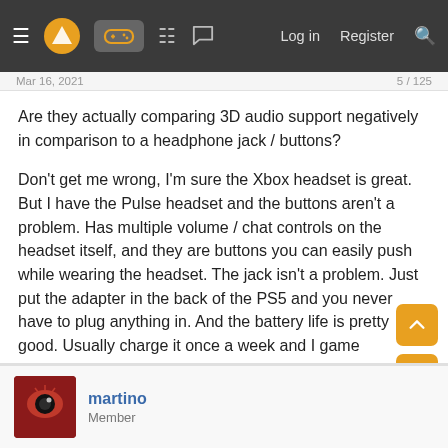Log in  Register
Mar 16, 2021
Are they actually comparing 3D audio support negatively in comparison to a headphone jack / buttons?

Don't get me wrong, I'm sure the Xbox headset is great. But I have the Pulse headset and the buttons aren't a problem. Has multiple volume / chat controls on the headset itself, and they are buttons you can easily push while wearing the headset. The jack isn't a problem. Just put the adapter in the back of the PS5 and you never have to plug anything in. And the battery life is pretty good. Usually charge it once a week and I game frequently.
Last edited: Mar 16, 2021
laynelane, Ezekiel_, BiohazardX95 and 2 others
martino
Member